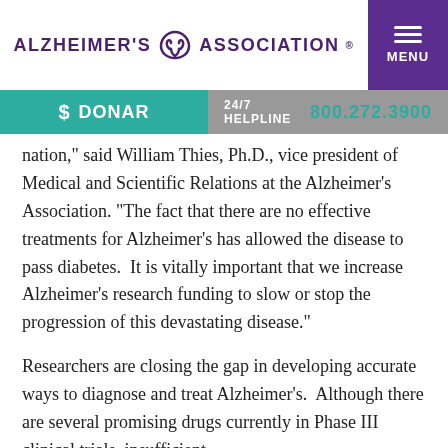ALZHEIMER'S ASSOCIATION
$ DONAR   24/7 HELPLINE  800.272.3900
nation,” said William Thies, Ph.D., vice president of Medical and Scientific Relations at the Alzheimer’s Association. “The fact that there are no effective treatments for Alzheimer’s has allowed the disease to pass diabetes.  It is vitally important that we increase Alzheimer’s research funding to slow or stop the progression of this devastating disease.”
Researchers are closing the gap in developing accurate ways to diagnose and treat Alzheimer’s.  Although there are several promising drugs currently in Phase III clinical trials, insufficient